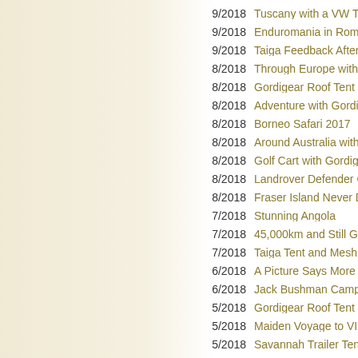9/2018  Tuscany with a VW T4
9/2018  Enduromania in Roman
9/2018  Taiga Feedback After T
8/2018  Through Europe with a
8/2018  Gordigear Roof Tent on
8/2018  Adventure with Gordige
8/2018  Borneo Safari 2017
8/2018  Around Australia with a
8/2018  Golf Cart with Gordigea
8/2018  Landrover Defender Ca
8/2018  Fraser Island Never Dis
7/2018  Stunning Angola
7/2018  45,000km and Still Goin
7/2018  Taiga Tent and Mesh Ro
6/2018  A Picture Says More Th
6/2018  Jack Bushman Camper
5/2018  Gordigear Roof Tent as
5/2018  Maiden Voyage to VIC
5/2018  Savannah Trailer Tent i